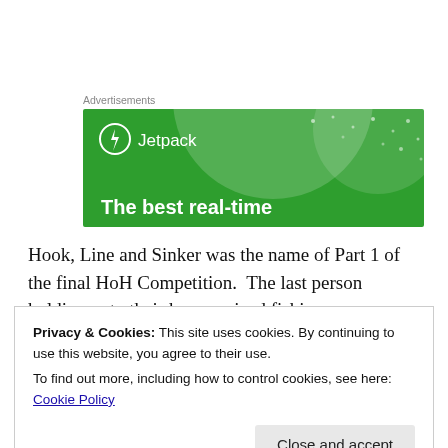Advertisements
[Figure (illustration): Jetpack advertisement banner with green background, circular light shapes, white dots/stars, Jetpack logo with lightning bolt icon, and tagline 'The best real-time']
Hook, Line and Sinker was the name of Part 1 of the final HoH Competition.  The last person holding onto their human-sized fishing
Privacy & Cookies: This site uses cookies. By continuing to use this website, you agree to their use.
To find out more, including how to control cookies, see here: Cookie Policy

Close and accept